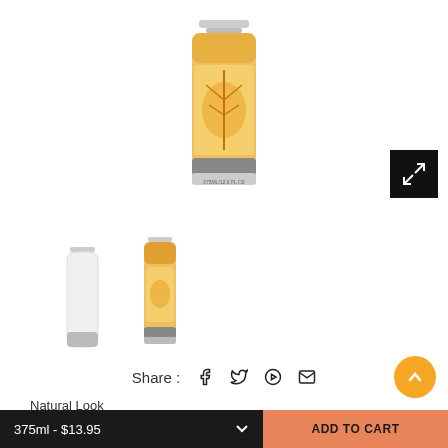[Figure (photo): Product photo of Natural Look Intensive Fortifying Shampoo bottle (golden/amber colored pump bottle)]
[Figure (photo): Two thumbnail photos of the shampoo product — one showing front view, one showing back/angle view]
Share : f  t  p  ✉
Natural Look
Intensive Fortifying Shampoo
In Stock     SKU : Intensive Fortifying Shampoo 375ml
$13.95
Si...
375ml - $13.95  ˄   ADD TO CART